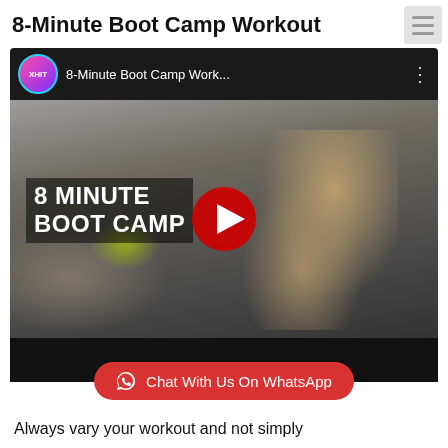8-Minute Boot Camp Workout
[Figure (screenshot): YouTube video embed showing XHIT channel, title '8-Minute Boot Camp Work...', thumbnail of a woman doing a mountain climber exercise with '8 MINUTE BOOT CAMP' text overlay, red YouTube play button in center]
Chat With Us On WhatsApp
Always vary your workout and not simply